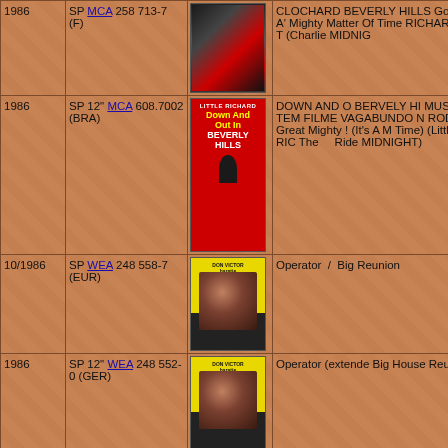| Year | Label/Cat# | Image | Tracks/Notes |
| --- | --- | --- | --- |
| 1986 | SP MCA 258 713-7 (F) | [cover image] | CLOCHARD BEVERLY HILLS Gosh A' Mighty Matter Of Time RICHARD) / T (Charlie MIDNIG |
| 1986 | SP 12" MCA 608.7002 (BRA) | [Down And Out Beverly Hills cover] | DOWN AND O BERVELY HI MUSICA TEM FILME VAGABUNDO N RODA - Great Mighty ! (It's A M Time) (Little RIC The Ride MIDNIGHT) |
| 10/1986 | SP WEA 248 558-7 (EUR) | [artist photo] | Operator / Big Reunion |
| 1986 | SP 12" WEA 248 552-0 (GER) | [artist photo] | Operator (extende Big House Reunic |